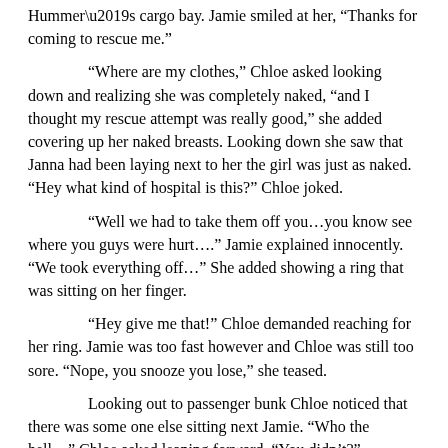Hummer’s cargo bay. Jamie smiled at her, “Thanks for coming to rescue me.”
“Where are my clothes,” Chloe asked looking down and realizing she was completely naked, “and I thought my rescue attempt was really good,” she added covering up her naked breasts. Looking down she saw that Janna had been laying next to her the girl was just as naked. “Hey what kind of hospital is this?” Chloe joked.
“Well we had to take them off you…you know see where you guys were hurt….” Jamie explained innocently. “We took everything off…” She added showing a ring that was sitting on her finger.
“Hey give me that!” Chloe demanded reaching for her ring. Jamie was too fast however and Chloe was still too sore. “Nope, you snooze you lose,” she teased.
Looking out to passenger bunk Chloe noticed that there was some one else sitting next Jamie. “Who the hell…” Chloe asked leaning forward, “You didn’t?”
“Oh come on Chloe, she’s crazy and she did it to me and was about to do it you it’s only fair,” Jamie replied looking over at Janna Crazy Eagle. The tall olive skinned a woman sat naked by the